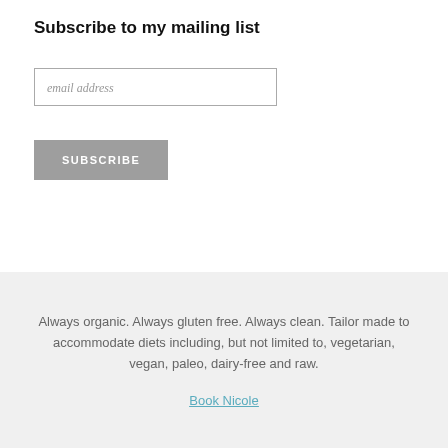Subscribe to my mailing list
email address
SUBSCRIBE
Always organic. Always gluten free. Always clean. Tailor made to accommodate diets including, but not limited to, vegetarian, vegan, paleo, dairy-free and raw.
Book Nicole